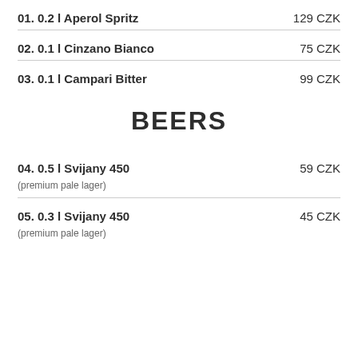01. 0.2 l Aperol Spritz — 129 CZK
02. 0.1 l Cinzano Bianco — 75 CZK
03. 0.1 l Campari Bitter — 99 CZK
BEERS
04. 0.5 l Svijany 450 — 59 CZK
(premium pale lager)
05. 0.3 l Svijany 450 — 45 CZK
(premium pale lager)